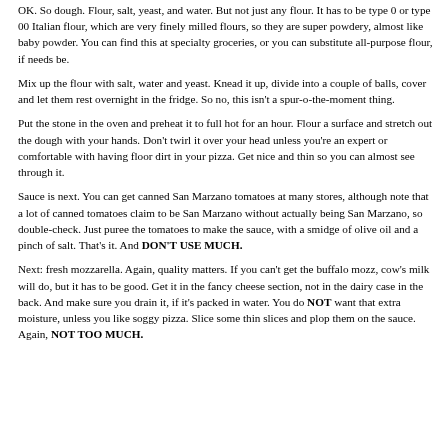OK. So dough. Flour, salt, yeast, and water. But not just any flour. It has to be type 0 or type 00 Italian flour, which are very finely milled flours, so they are super powdery, almost like baby powder. You can find this at specialty groceries, or you can substitute all-purpose flour, if needs be.
Mix up the flour with salt, water and yeast. Knead it up, divide into a couple of balls, cover and let them rest overnight in the fridge. So no, this isn't a spur-o-the-moment thing.
Put the stone in the oven and preheat it to full hot for an hour. Flour a surface and stretch out the dough with your hands. Don't twirl it over your head unless you're an expert or comfortable with having floor dirt in your pizza. Get nice and thin so you can almost see through it.
Sauce is next. You can get canned San Marzano tomatoes at many stores, although note that a lot of canned tomatoes claim to be San Marzano without actually being San Marzano, so double-check. Just puree the tomatoes to make the sauce, with a smidge of olive oil and a pinch of salt. That's it. And DON'T USE MUCH.
Next: fresh mozzarella. Again, quality matters. If you can't get the buffalo mozz, cow's milk will do, but it has to be good. Get it in the fancy cheese section, not in the dairy case in the back. And make sure you drain it, if it's packed in water. You do NOT want that extra moisture, unless you like soggy pizza. Slice some thin slices and plop them on the sauce. Again, NOT TOO MUCH.